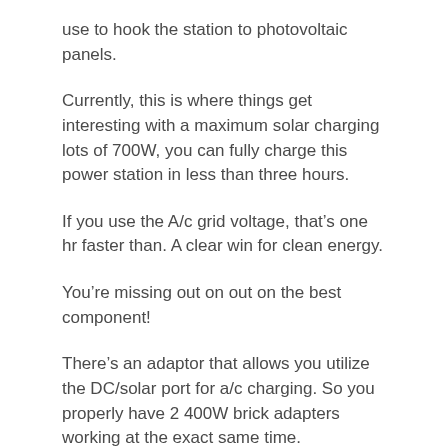use to hook the station to photovoltaic panels.
Currently, this is where things get interesting with a maximum solar charging lots of 700W, you can fully charge this power station in less than three hours.
If you use the A/c grid voltage, that’s one hr faster than. A clear win for clean energy.
You’re missing out on out on the best component!
There’s an adaptor that allows you utilize the DC/solar port for a/c charging. So you properly have 2 400W brick adapters working at the exact same time.